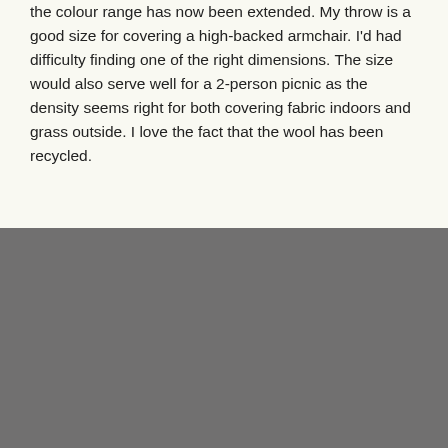the colour range has now been extended. My throw is a good size for covering a high-backed armchair. I'd had difficulty finding one of the right dimensions. The size would also serve well for a 2-person picnic as the density seems right for both covering fabric indoors and grass outside. I love the fact that the wool has been recycled.
Back to the top ∧
Become A Friend Of Turtle Doves
[Figure (logo): Social media icons: Twitter, Facebook, Instagram, Pinterest]
[Figure (logo): Trustpilot logo with green star and five green star rating boxes]